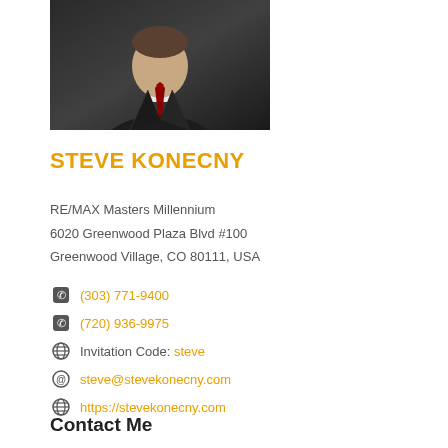[Figure (photo): Professional headshot of Steve Konecny in a dark suit with a red tie]
STEVE KONECNY
RE/MAX Masters Millennium
6020 Greenwood Plaza Blvd #100
Greenwood Village, CO 80111, USA
(303) 771-9400
(720) 936-9975
Invitation Code: steve
steve@stevekonecny.com
https://stevekonecny.com
Contact Me